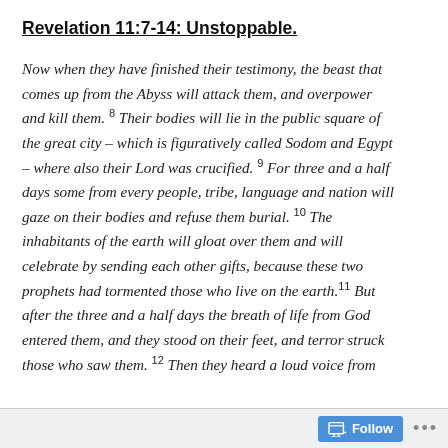Revelation 11:7-14: Unstoppable.
Now when they have finished their testimony, the beast that comes up from the Abyss will attack them, and overpower and kill them. 8 Their bodies will lie in the public square of the great city – which is figuratively called Sodom and Egypt – where also their Lord was crucified. 9 For three and a half days some from every people, tribe, language and nation will gaze on their bodies and refuse them burial. 10 The inhabitants of the earth will gloat over them and will celebrate by sending each other gifts, because these two prophets had tormented those who live on the earth. 11 But after the three and a half days the breath of life from God entered them, and they stood on their feet, and terror struck those who saw them. 12 Then they heard a loud voice from
Follow ...